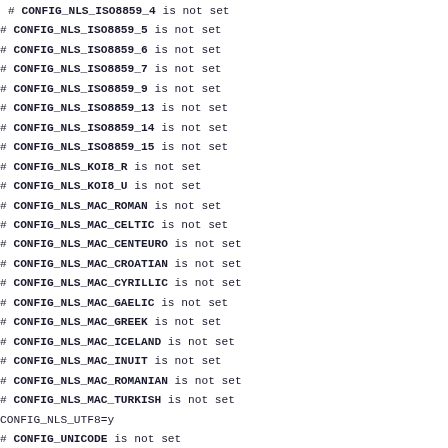# CONFIG_NLS_ISO8859_4 is not set
# CONFIG_NLS_ISO8859_5 is not set
# CONFIG_NLS_ISO8859_6 is not set
# CONFIG_NLS_ISO8859_7 is not set
# CONFIG_NLS_ISO8859_9 is not set
# CONFIG_NLS_ISO8859_13 is not set
# CONFIG_NLS_ISO8859_14 is not set
# CONFIG_NLS_ISO8859_15 is not set
# CONFIG_NLS_KOI8_R is not set
# CONFIG_NLS_KOI8_U is not set
# CONFIG_NLS_MAC_ROMAN is not set
# CONFIG_NLS_MAC_CELTIC is not set
# CONFIG_NLS_MAC_CENTEURO is not set
# CONFIG_NLS_MAC_CROATIAN is not set
# CONFIG_NLS_MAC_CYRILLIC is not set
# CONFIG_NLS_MAC_GAELIC is not set
# CONFIG_NLS_MAC_GREEK is not set
# CONFIG_NLS_MAC_ICELAND is not set
# CONFIG_NLS_MAC_INUIT is not set
# CONFIG_NLS_MAC_ROMANIAN is not set
# CONFIG_NLS_MAC_TURKISH is not set
CONFIG_NLS_UTF8=y
# CONFIG_UNICODE is not set
# end of File systems

#
# Security options
#
CONFIG_KEYS=y
CONFIG_KEYS_COMPAT=y